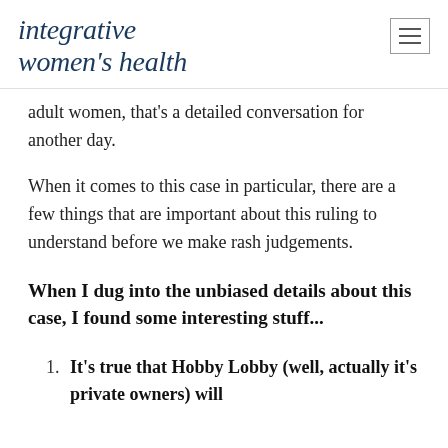integrative women's health
adult women, that's a detailed conversation for another day.
When it comes to this case in particular, there are a few things that are important about this ruling to understand before we make rash judgements.
When I dug into the unbiased details about this case, I found some interesting stuff...
It's true that Hobby Lobby (well, actually it's private owners) will